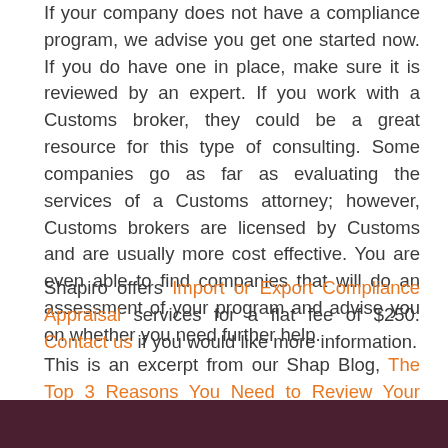If your company does not have a compliance program, we advise you get one started now. If you do have one in place, make sure it is reviewed by an expert. If you work with a Customs broker, they could be a great resource for this type of consulting. Some companies go as far as evaluating the services of a Customs attorney; however, Customs brokers are licensed by Customs and are usually more cost effective. You are even able to find companies that will do an assessment of your program and advise you on whether you need further help.
Shapiro offers Import or Export Compliance Appraisal services for a flat fee of $250. Contact us if you would like more information.
This is an excerpt from our Shap Blog, The Top 3 Reasons You Need to Review Your Import/Export Trade Compliance Program Now. Please visit our website to read the blog in its entirety and leave us a comment.
[Figure (other): Dark maroon/purple footer bar at the bottom of the page]